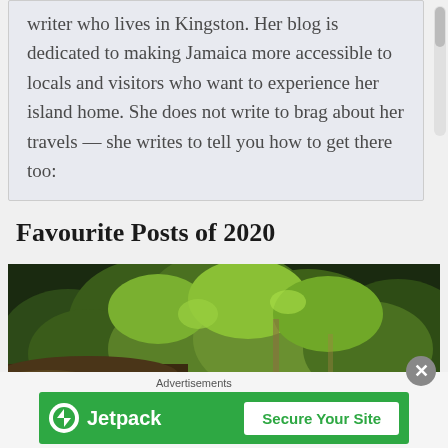writer who lives in Kingston. Her blog is dedicated to making Jamaica more accessible to locals and visitors who want to experience her island home. She does not write to brag about her travels — she writes to tell you how to get there too:
Favourite Posts of 2020
[Figure (photo): A dense tropical forest landscape with lush green trees and vegetation]
Advertisements
[Figure (screenshot): Jetpack advertisement banner with green background showing Jetpack logo and 'Secure Your Site' button]